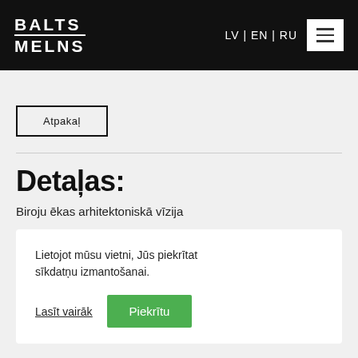BALTS MELNS — LV | EN | RU
Atpakaļ
Detaļas:
Biroju ēkas arhitektoniskā vīzija
Lietojot mūsu vietni, Jūs piekrītat sīkdatņu izmantošanai.
Lasīt vairāk   Piekrītu